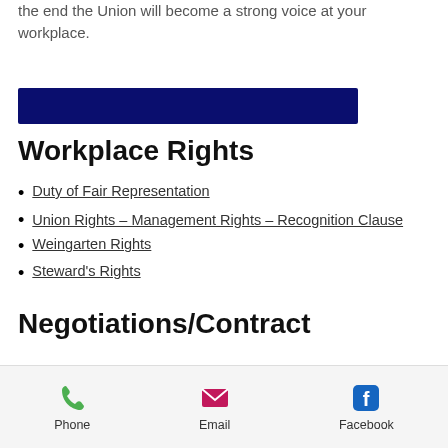the end the Union will become a strong voice at your workplace.
[Figure (other): Dark navy blue horizontal decorative bar]
Workplace Rights
Duty of Fair Representation
Union Rights – Management Rights – Recognition Clause
Weingarten Rights
Steward's Rights
Negotiations/Contract
Negotiating a Union Contract
Breaking in a New Boss
Mid Contract Bargaining Changes
Mandatory and Permissive Subjects
Phone   Email   Facebook